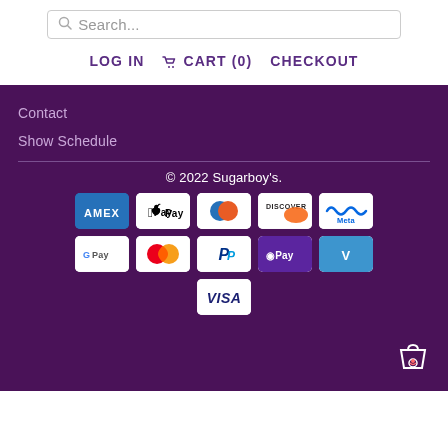Search...
LOG IN   CART (0)   CHECKOUT
Contact
Show Schedule
© 2022 Sugarboy's.
[Figure (infographic): Payment method logos: AMEX, Apple Pay, Diners Club, Discover, Meta Pay, Google Pay, Mastercard, PayPal, OPay, Venmo, Visa]